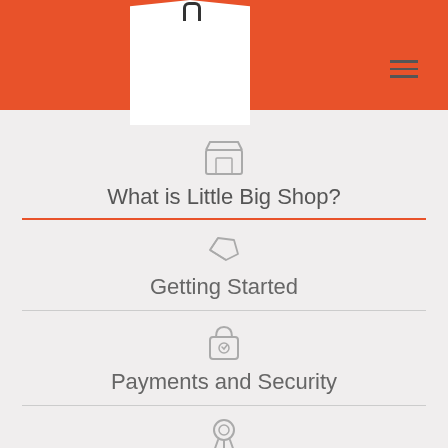[Figure (logo): Little Big Shop logo on a white tag shape with orange background header and hamburger menu icon]
What is Little Big Shop?
Getting Started
Payments and Security
Features